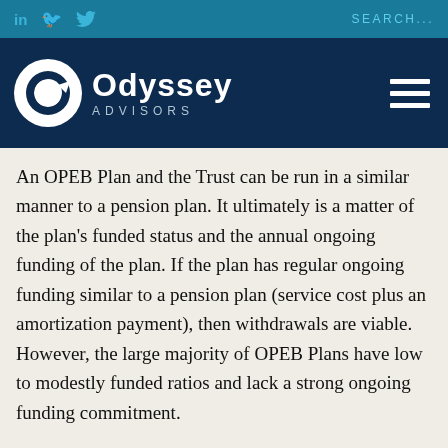in  f  Twitter   SEARCH...
[Figure (logo): Odyssey Advisors logo with white circular icon and hamburger menu]
An OPEB Plan and the Trust can be run in a similar manner to a pension plan. It ultimately is a matter of the plan’s funded status and the annual ongoing funding of the plan. If the plan has regular ongoing funding similar to a pension plan (service cost plus an amortization payment), then withdrawals are viable. However, the large majority of OPEB Plans have low to modestly funded ratios and lack a strong ongoing funding commitment.